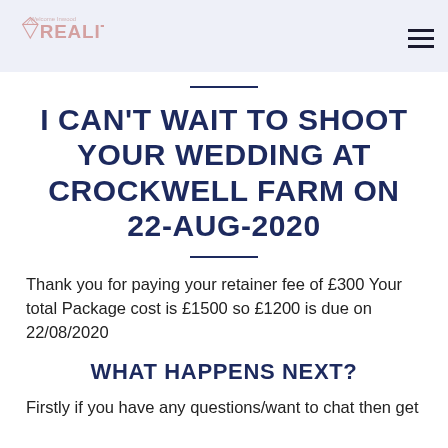Welcome Inwood REALITY
I CAN'T WAIT TO SHOOT YOUR WEDDING AT CROCKWELL FARM ON 22-AUG-2020
Thank you for paying your retainer fee of £300 Your total Package cost is £1500 so £1200 is due on 22/08/2020
WHAT HAPPENS NEXT?
Firstly if you have any questions/want to chat then get